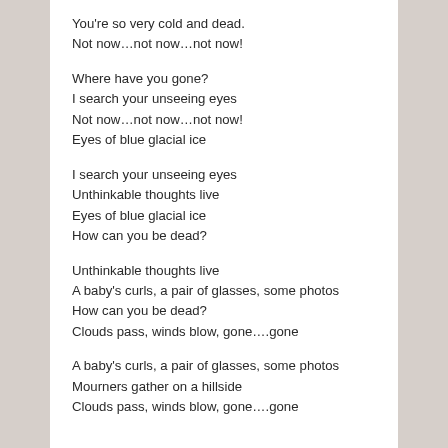You're so very cold and dead.
Not now…not now…not now!
Where have you gone?
I search your unseeing eyes
Not now…not now…not now!
Eyes of blue glacial ice
I search your unseeing eyes
Unthinkable thoughts live
Eyes of blue glacial ice
How can you be dead?
Unthinkable thoughts live
A baby's curls, a pair of glasses, some photos
How can you be dead?
Clouds pass, winds blow, gone….gone
A baby's curls, a pair of glasses, some photos
Mourners gather on a hillside
Clouds pass, winds blow, gone….gone